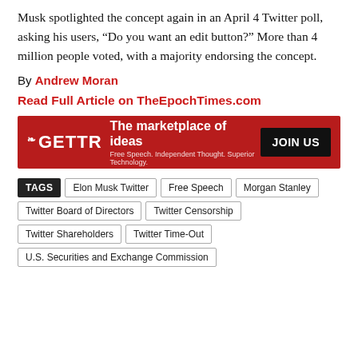Musk spotlighted the concept again in an April 4 Twitter poll, asking his users, “Do you want an edit button?” More than 4 million people voted, with a majority endorsing the concept.
By Andrew Moran
Read Full Article on TheEpochTimes.com
[Figure (illustration): GETTR advertisement banner: red background with GETTR logo on left, text 'The marketplace of ideas / Free Speech. Independent Thought. Superior Technology.' in center, and black 'JOIN US' button on right.]
TAGS: Elon Musk Twitter | Free Speech | Morgan Stanley | Twitter Board of Directors | Twitter Censorship | Twitter Shareholders | Twitter Time-Out | U.S. Securities and Exchange Commission